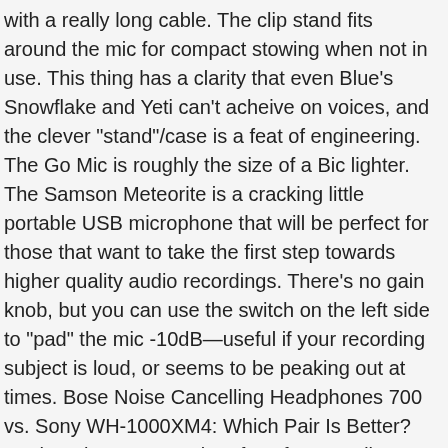with a really long cable. The clip stand fits around the mic for compact stowing when not in use. This thing has a clarity that even Blue's Snowflake and Yeti can't acheive on voices, and the clever "stand"/case is a feat of engineering. The Go Mic is roughly the size of a Bic lighter. The Samson Meteorite is a cracking little portable USB microphone that will be perfect for those that want to take the first step towards higher quality audio recordings. There's no gain knob, but you can use the switch on the left side to "pad" the mic -10dB—useful if your recording subject is loud, or seems to be peaking out at times. Bose Noise Cancelling Headphones 700 vs. Sony WH-1000XM4: Which Pair Is Better? So the mic acts as an interface for recording an instrument on your computer, with zero-latency monitoring. In the absence of DSP, what you get is a pure signal, and you can always enhance the recording with EQ or compression in your recording software later, rather than having very little control over dynamics with DSP that is baked into the signal chain. PCMag.com is a leading